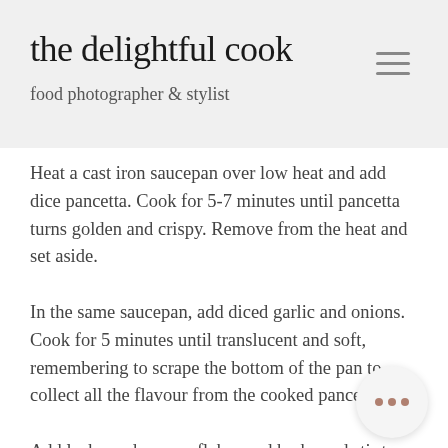the delightful cook
food photographer & stylist
Heat a cast iron saucepan over low heat and add dice pancetta. Cook for 5-7 minutes until pancetta turns golden and crispy. Remove from the heat and set aside.
In the same saucepan, add diced garlic and onions. Cook for 5 minutes until translucent and soft, remembering to scrape the bottom of the pan to collect all the flavour from the cooked pancetta.
Add leeks, red pepper flakes and herbs and stir to combine really well, cooking for a further 5 minutes to allow the leeks to soften.
Pour in the chicken stock, water and potatoes and season well with salt and